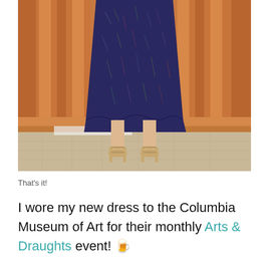[Figure (photo): A person wearing a navy blue floral/leaf-patterned dress and gold strappy heeled sandals, standing in front of orange/copper satin curtains on a tiled floor. Only the body from mid-torso down is visible.]
That's it!
I wore my new dress to the Columbia Museum of Art for their monthly Arts & Draughts event! 🍺